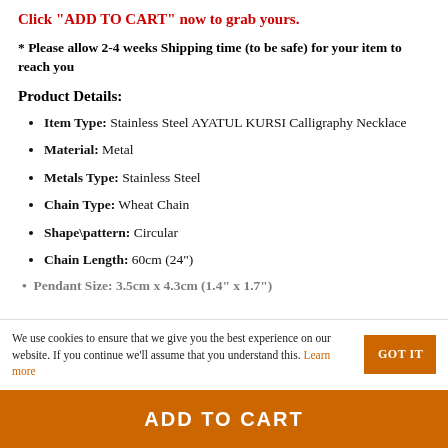Click "ADD TO CART" now to grab yours.
* Please allow 2-4 weeks Shipping time (to be safe) for your item to reach you
Product Details:
Item Type: Stainless Steel AYATUL KURSI Calligraphy Necklace
Material: Metal
Metals Type: Stainless Steel
Chain Type: Wheat Chain
Shape\pattern: Circular
Chain Length: 60cm (24")
Pendant Size: 3.5cm x 4.3cm (1.4" x 1.7")
We use cookies to ensure that we give you the best experience on our website. If you continue we'll assume that you understand this. Learn more
ADD TO CART